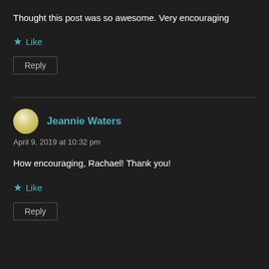Thought this post was so awesome. Very encouraging
★ Like
Reply
Jeannie Waters
April 9, 2019 at 10:32 pm
How encouraging, Rachael! Thank you!
★ Like
Reply